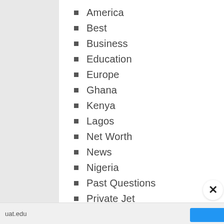America
Best
Business
Education
Europe
Ghana
Kenya
Lagos
Net Worth
News
Nigeria
Past Questions
Private Jet
Recruiment
Recruitment
uat.edu